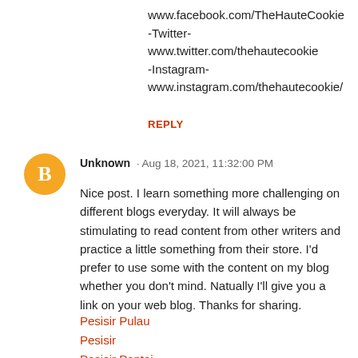www.facebook.com/TheHauteCookie
-Twitter-
www.twitter.com/thehautecookie
-Instagram-
www.instagram.com/thehautecookie/
REPLY
Unknown · Aug 18, 2021, 11:32:00 PM
Nice post. I learn something more challenging on different blogs everyday. It will always be stimulating to read content from other writers and practice a little something from their store. I'd prefer to use some with the content on my blog whether you don't mind. Natually I'll give you a link on your web blog. Thanks for sharing.
Pesisir Pulau
Pesisir
Pesisir Pantai